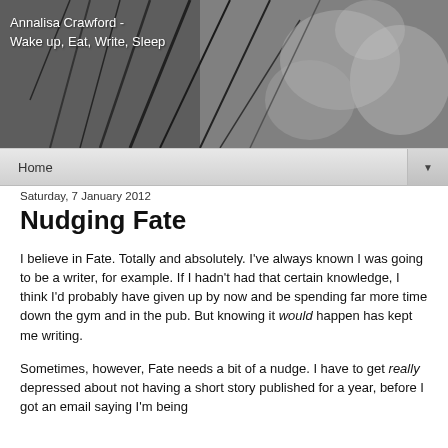[Figure (photo): Black and white banner photograph showing broken glass or plant stems, with blog title 'Annalisa Crawford - Wake up, Eat, Write, Sleep' overlaid in white text on the left side.]
Home ▼
Saturday, 7 January 2012
Nudging Fate
I believe in Fate. Totally and absolutely. I've always known I was going to be a writer, for example. If I hadn't had that certain knowledge, I think I'd probably have given up by now and be spending far more time down the gym and in the pub. But knowing it would happen has kept me writing.
Sometimes, however, Fate needs a bit of a nudge. I have to get really depressed about not having a short story published for a year, before I got an email saying I'm being